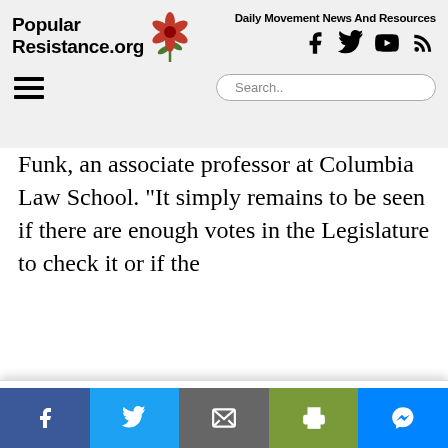Popular Resistance.org — Daily Movement News And Resources
Funk, an associate professor at Columbia Law School. “It simply remains to be seen if there are enough votes in the Legislature to check it or if the
Sign Up To Our Daily Digest
Independent media outlets are being suppressed and dropped by corporations like Google, Facebook and Twitter. Sign up for our daily email digest before it’s too late so you don’t miss the latest movement news.
Share on Facebook, Twitter, Email, Print, Messenger